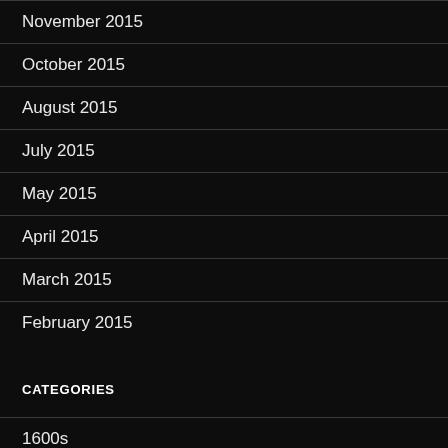November 2015
October 2015
August 2015
July 2015
May 2015
April 2015
March 2015
February 2015
CATEGORIES
1600s
1800s